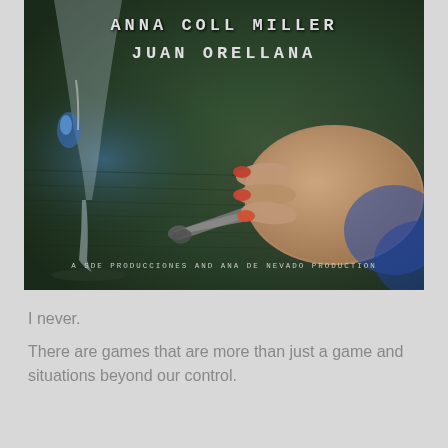[Figure (photo): Movie poster showing a dark green background with a wine glass on the left and a hand with red/orange nails holding scissors on the right. Text at top reads 'ANNA COLL MILLER / JUAN ORELLANA'. Production credit at bottom reads 'A SDE PRODUCCIONES AND ANA DE NEVADO PRODUCTION'.]
I never.
There are games that are more than just a game and situations beyond our control.